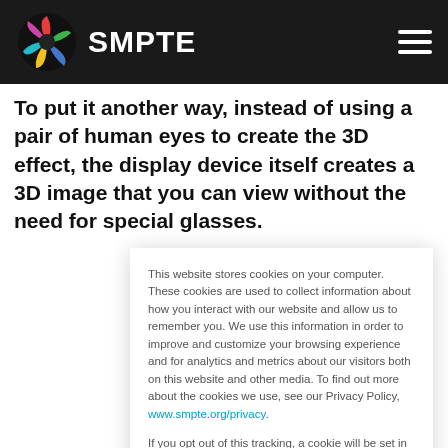SMPTE
To put it another way, instead of using a pair of human eyes to create the 3D effect, the display device itself creates a 3D image that you can view without the need for special glasses.
This website stores cookies on your computer. These cookies are used to collect information about how you interact with our website and allow us to remember you. We use this information in order to improve and customize your browsing experience and for analytics and metrics about our visitors both on this website and other media. To find out more about the cookies we use, see our Privacy Policy, www.smpte.org/privacy.
If you opt out of this tracking, a cookie will be set in your browser to remember your preference not to be tracked, and we will only use non-personally identifiable cookies strictly necessary for your SMPTE site experience.